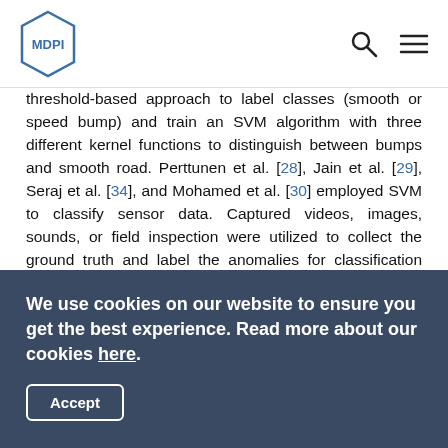MDPI
threshold-based approach to label classes (smooth or speed bump) and train an SVM algorithm with three different kernel functions to distinguish between bumps and smooth road. Perttunen et al. [28], Jain et al. [29], Seraj et al. [34], and Mohamed et al. [30] employed SVM to classify sensor data. Captured videos, images, sounds, or field inspection were utilized to collect the ground truth and label the anomalies for classification purposes. Silva et al. [40] investigated the performance of various supervised machine learning approaches, such as gradient boosting (GB), decision tree (DT), multilayer perceptron classifier (MPL), Gaussian Naive Bayes (GNB), and linear SVC to classify road surface distresses into
We use cookies on our website to ensure you get the best experience. Read more about our cookies here. Accept